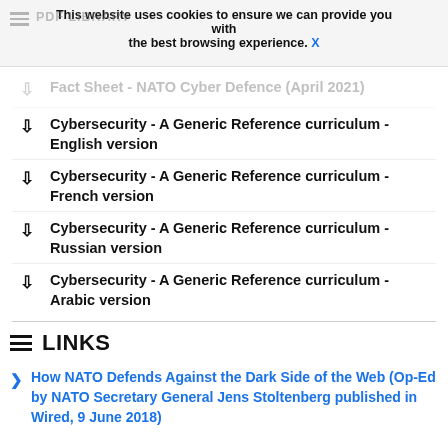PDF LIBRARY
This website uses cookies to ensure we can provide you with the best browsing experience. X
Fact Sheet - NATO Cyber Defence (April 2021)
Cybersecurity - A Generic Reference curriculum - English version
Cybersecurity - A Generic Reference curriculum - French version
Cybersecurity - A Generic Reference curriculum - Russian version
Cybersecurity - A Generic Reference curriculum - Arabic version
LINKS
How NATO Defends Against the Dark Side of the Web (Op-Ed by NATO Secretary General Jens Stoltenberg published in Wired, 9 June 2018)